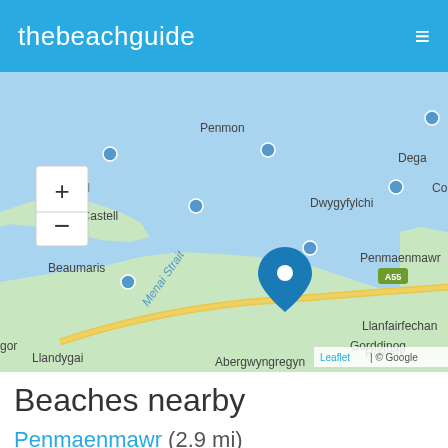thebeachguide
[Figure (map): Interactive map showing the Menai Strait area in Wales with location pin near Llanfairfechan/Penmaenmawr. Map shows Penmon, Tre-Castell, Beaumaris, Menai Strait, Llanfairfechan, Gorddinog, Abergwyngregyn, Llandygai, Dwygyfylchi, Penmaenmawr, Rowen, Dega, A55 road, and Colwyn area. Blue location pin marker visible. Zoom controls (+/-) in top left. Leaflet | © Google attribution bottom right.]
Beaches nearby
Penmaenmawr (2.9 mi)
Beaumaris (4.5 mi)